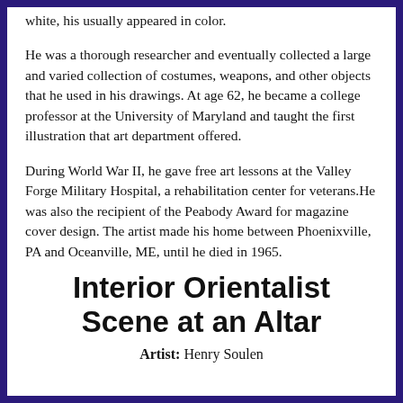white, his usually appeared in color.
He was a thorough researcher and eventually collected a large and varied collection of costumes, weapons, and other objects that he used in his drawings. At age 62, he became a college professor at the University of Maryland and taught the first illustration that art department offered.
During World War II, he gave free art lessons at the Valley Forge Military Hospital, a rehabilitation center for veterans.He was also the recipient of the Peabody Award for magazine cover design. The artist made his home between Phoenixville, PA and Oceanville, ME, until he died in 1965.
Interior Orientalist Scene at an Altar
Artist: Henry Soulen